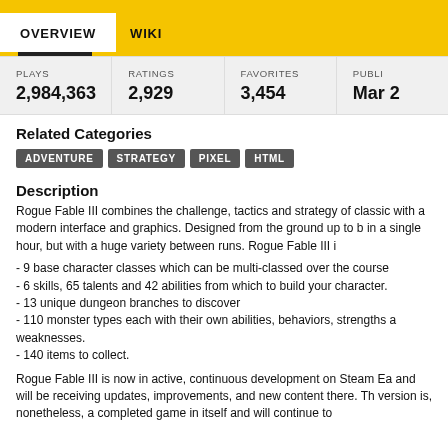OVERVIEW   WIKI
| PLAYS | RATINGS | FAVORITES | PUBLI... |
| --- | --- | --- | --- |
| 2,984,363 | 2,929 | 3,454 | Mar 2 |
Related Categories
ADVENTURE
STRATEGY
PIXEL
HTML
Description
Rogue Fable III combines the challenge, tactics and strategy of classic with a modern interface and graphics. Designed from the ground up to be played in a single hour, but with a huge variety between runs. Rogue Fable III i
- 9 base character classes which can be multi-classed over the course
- 6 skills, 65 talents and 42 abilities from which to build your character.
- 13 unique dungeon branches to discover
- 110 monster types each with their own abilities, behaviors, strengths and weaknesses.
- 140 items to collect.
Rogue Fable III is now in active, continuous development on Steam Ea and will be receiving updates, improvements, and new content there. The version is, nonetheless, a completed game in itself and will continue to